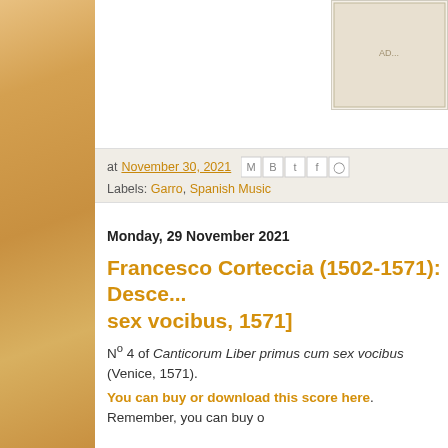[Figure (other): Book cover image partially visible in upper right corner]
at November 30, 2021 [social share icons] Labels: Garro, Spanish Music
Monday, 29 November 2021
Francesco Corteccia (1502-1571): Descen... sex vocibus, 1571]
Nº 4 of Canticorum Liber primus cum sex vocibus (Venice, 1571).
You can buy or download this score here. Remember, you can buy o...